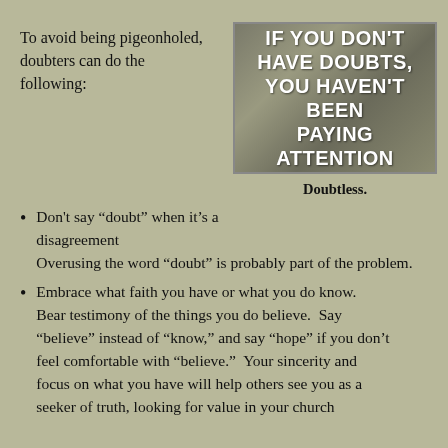To avoid being pigeonholed, doubters can do the following:
[Figure (photo): A stone or concrete sign with white stencil text reading: IF YOU DON'T HAVE DOUBTS, YOU HAVEN'T BEEN PAYING ATTENTION]
Doubtless.
Don't say “doubt” when it's a disagreement  Overusing the word “doubt” is probably part of the problem.
Embrace what faith you have or what you do know. Bear testimony of the things you do believe.  Say “believe” instead of “know,” and say “hope” if you don't feel comfortable with “believe.”  Your sincerity and focus on what you have will help others see you as a seeker of truth, looking for value in your church